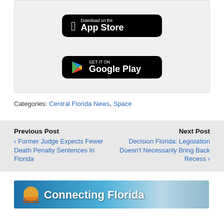[Figure (logo): Download on the App Store black badge button]
[Figure (logo): Get it on Google Play black badge button]
Categories: Central Florida News, Space
Previous Post
‹ Former Judge Expects Fewer Death Penalty Sentences In Florida
Next Post
Decision Florida: Legislation Doesn't Necessarily Bring Back Recess ›
[Figure (photo): Banner image showing 'Connecting Florida' with a sunrise/sunset logo over water]